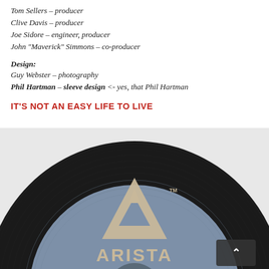Tom Sellers – producer
Clive Davis – producer
Joe Sidore – engineer, producer
John "Maverick" Simmons – co-producer
Design:
Guy Webster – photography
Phil Hartman – sleeve design <- yes, that Phil Hartman
IT'S NOT AN EASY LIFE TO LIVE
[Figure (photo): Photo of a blue Arista Records vinyl 45 single label, catalog number AS 0210. The Arista triangle logo is prominently displayed. Small text reads: Lifson Thomas Music/Careers Music Inc. BMI]